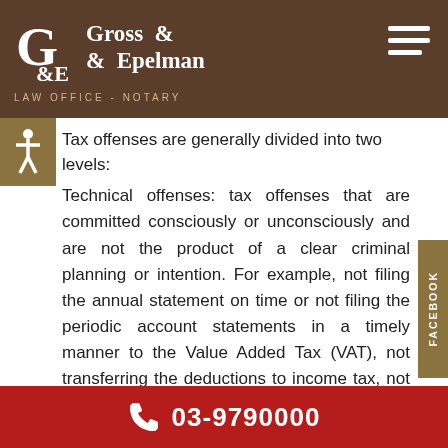Gross & Epelman Law Office - Notary
Tax offenses are generally divided into two levels:
Technical offenses: tax offenses that are committed consciously or unconsciously and are not the product of a clear criminal planning or intention. For example, not filing the annual statement on time or not filing the periodic account statements in a timely manner to the Value Added Tax (VAT), not transferring the deductions to income tax, not making the withholding of taxes, etc. Conviction for technical tax offenses does not require proof of criminal
03-9790000